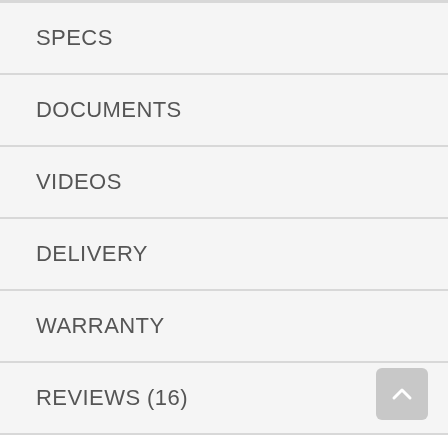SPECS
DOCUMENTS
VIDEOS
DELIVERY
WARRANTY
REVIEWS (16)
Even-Heat™ True Convection Oven (both ovens) features a unique bow-tie design with heating element and fan that circulates hot air throughout the entire oven, providing consistent temperatures for crisp, flaky baked goods, juicy, well-browned roasts and flavorful, caramelized vegetables.